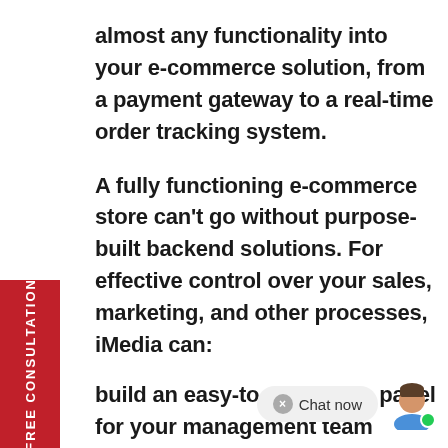almost any functionality into your e-commerce solution, from a payment gateway to a real-time order tracking system.
A fully functioning e-commerce store can't go without purpose-built backend solutions. For effective control over your sales, marketing, and other processes, iMedia can:
build an easy-to-use admin panel for your management team
develop unique booking and customer management systems